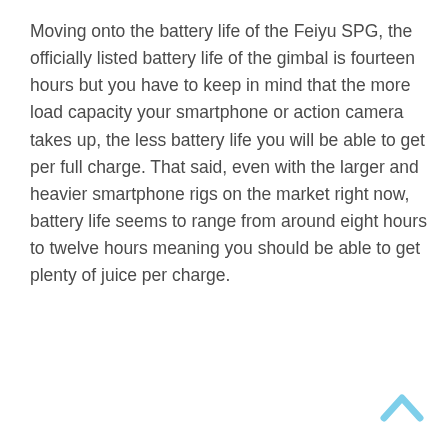Moving onto the battery life of the Feiyu SPG, the officially listed battery life of the gimbal is fourteen hours but you have to keep in mind that the more load capacity your smartphone or action camera takes up, the less battery life you will be able to get per full charge. That said, even with the larger and heavier smartphone rigs on the market right now, battery life seems to range from around eight hours to twelve hours meaning you should be able to get plenty of juice per charge.